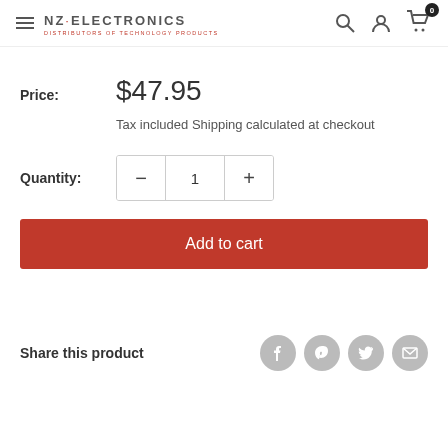NZ·ELECTRONICS DISTRIBUTORS OF TECHNOLOGY PRODUCTS
Price: $47.95
Tax included Shipping calculated at checkout
Quantity: 1
Add to cart
Share this product